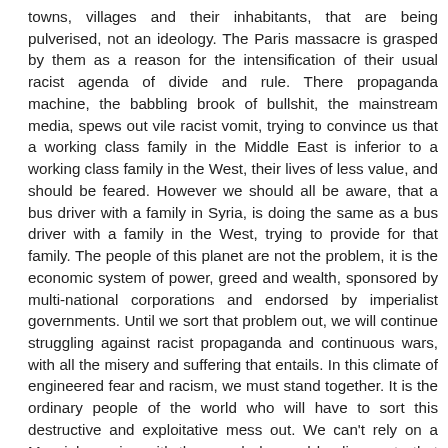towns, villages and their inhabitants, that are being pulverised, not an ideology. The Paris massacre is grasped by them as a reason for the intensification of their usual racist agenda of divide and rule. There propaganda machine, the babbling brook of bullshit, the mainstream media, spews out vile racist vomit, trying to convince us that a working class family in the Middle East is inferior to a working class family in the West, their lives of less value, and should be feared. However we should all be aware, that a bus driver with a family in Syria, is doing the same as a bus driver with a family in the West, trying to provide for that family. The people of this planet are not the problem, it is the economic system of power, greed and wealth, sponsored by multi-national corporations and endorsed by imperialist governments. Until we sort that problem out, we will continue struggling against racist propaganda and continuous wars, with all the misery and suffering that entails. In this climate of engineered fear and racism, we must stand together. It is the ordinary people of the world who will have to sort this destructive and exploitative mess out. We can't rely on a Messiah coming with the grand plan and leading us to that promised land. they have all failed in the past and consumed